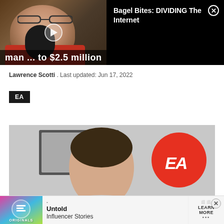[Figure (screenshot): Video thumbnail showing a man with glasses and a microphone, dark background with a play button overlay]
Bagel Bites: DIVIDING The Internet
Lawrence Scotti . Last updated: Jun 17, 2022
EA
[Figure (screenshot): Main article image showing a man in front of EA (Electronic Arts) logo on a red circle]
[Figure (screenshot): Advertisement banner: Originals - Untold Influencer Stories - Learn More]